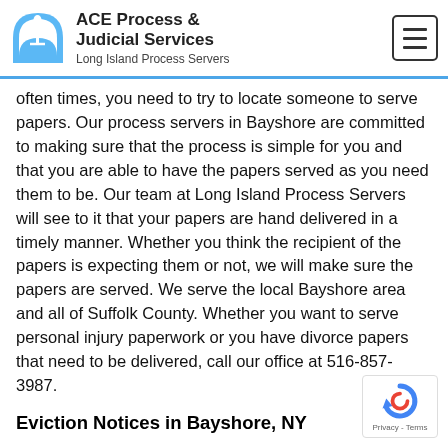ACE Process & Judicial Services
Long Island Process Servers
often times, you need to try to locate someone to serve papers. Our process servers in Bayshore are committed to making sure that the process is simple for you and that you are able to have the papers served as you need them to be. Our team at Long Island Process Servers will see to it that your papers are hand delivered in a timely manner. Whether you think the recipient of the papers is expecting them or not, we will make sure the papers are served. We serve the local Bayshore area and all of Suffolk County. Whether you want to serve personal injury paperwork or you have divorce papers that need to be delivered, call our office at 516-857-3987.
Eviction Notices in Bayshore, NY